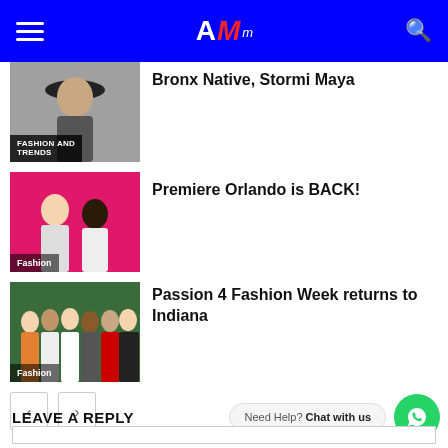AM (logo) - navigation header with hamburger menu and search icon
Bronx Native, Stormi Maya
[Figure (photo): Woman in black hat, category label FASHION AND TRENDS]
Premiere Orlando is BACK!
[Figure (photo): People posing on pink background, category label Fashion]
Passion 4 Fashion Week returns to Indiana
[Figure (photo): Group of women posing outdoors, category label Fashion]
< >  pagination buttons
Need Help? Chat with us
LEAVE A REPLY